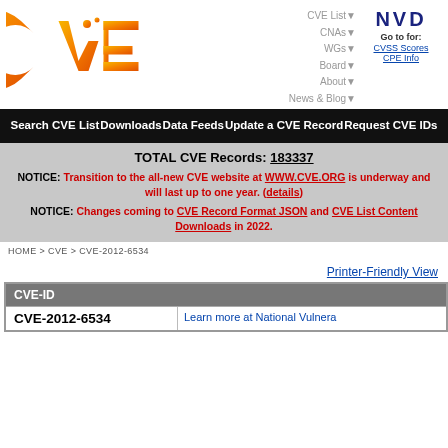[Figure (logo): CVE orange gradient logo with CVE text]
CVE List▼ CNAs▼ WGs▼ Board▼ About▼ News & Blog▼
[Figure (logo): NVD dark blue logo with Go to for: CVSS Scores and CPE Info links]
Search CVE List   Downloads   Data Feeds   Update a CVE Record   Request CVE IDs
TOTAL CVE Records: 183337
NOTICE: Transition to the all-new CVE website at WWW.CVE.ORG is underway and will last up to one year. (details)
NOTICE: Changes coming to CVE Record Format JSON and CVE List Content Downloads in 2022.
HOME > CVE > CVE-2012-6534
Printer-Friendly View
| CVE-ID |  |
| --- | --- |
| CVE-2012-6534 | Learn more at National Vulnera... |